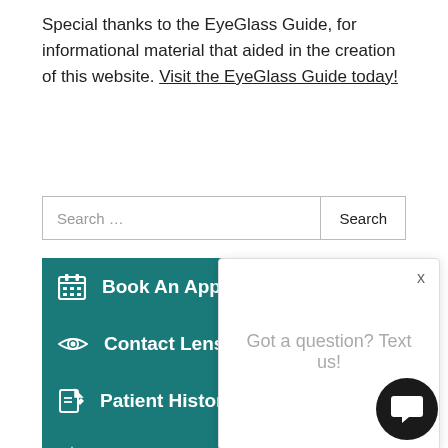Special thanks to the EyeGlass Guide, for informational material that aided in the creation of this website. Visit the EyeGlass Guide today!
Search ...
Book An Appointment
Contact Lens Store
Patient History Form
Review Us On Google
Got a question? Text us!